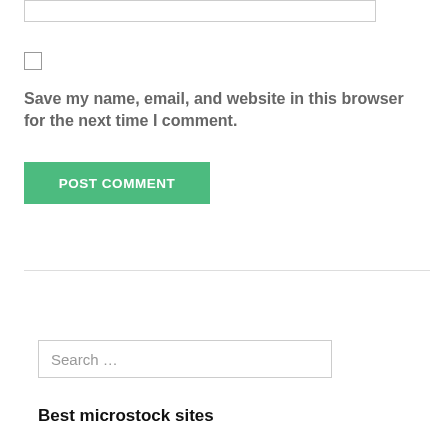[Figure (screenshot): Text input box (form field), partially visible at top of page]
[Figure (screenshot): Checkbox (unchecked) for saving name/email/website]
Save my name, email, and website in this browser for the next time I comment.
[Figure (screenshot): Green POST COMMENT button]
[Figure (screenshot): Horizontal divider line]
[Figure (screenshot): Search input box with placeholder text 'Search ...']
Best microstock sites